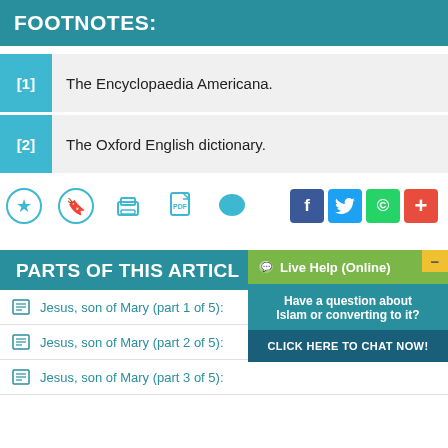FOOTNOTES:
[1]  The Encyclopaedia Americana.
[2]  The Oxford English dictionary.
[Figure (screenshot): Row of action icons: bookmark star, bookmark ribbon, print, PDF, comment/speech bubble, and social share buttons: Facebook (f), Twitter bird, WhatsApp, plus (+)]
PARTS OF THIS ARTICLE
Jesus, son of Mary (part 1 of 5):
Jesus, son of Mary (part 2 of 5):
Jesus, son of Mary (part 3 of 5):
[Figure (screenshot): Live Help (Online) chat popup with green header, teal body saying 'Have a question about Islam or converting to it?', and dark blue 'CLICK HERE TO CHAT NOW!' button. Yellow minus button top-right corner.]